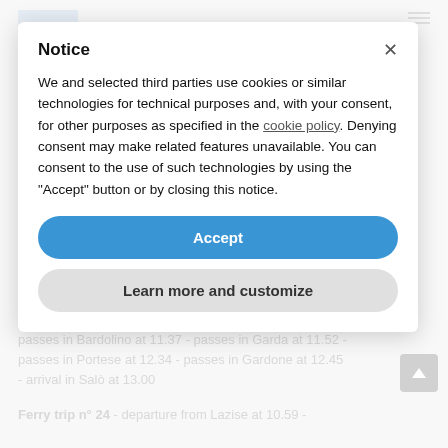Notice
We and selected third parties use cookies or similar technologies for technical purposes and, with your consent, for other purposes as specified in the cookie policy. Denying consent may make related features unavailable. You can consent to the use of such technologies by using the "Accept" button or by closing this notice.
Accept
Learn more and customize
Ferry trip n° 18 - departure from Lazise at 11.20 - passes in Bardolino at 11.37 - passes in Garda at 11.52 - passes in Portese at 12.34 - passes in Gardone at 12.45 - arrival in Salò at 13.00
Ferry trip n° 24 - departure from Lazise at 10.59 -